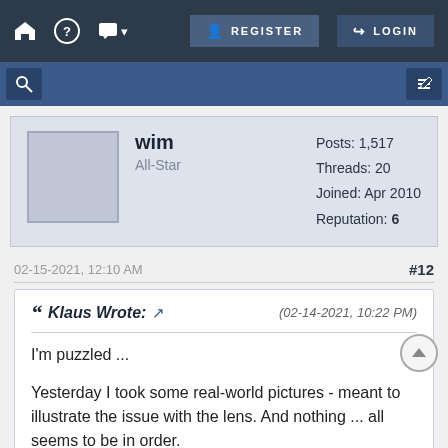REGISTER  LOGIN
wim
All-Star
Posts: 1,517
Threads: 20
Joined: Apr 2010
Reputation: 6
02-15-2021, 12:10 AM  #12
Klaus Wrote: (02-14-2021, 10:22 PM)
I'm puzzled ...

Yesterday I took some real-world pictures - meant to illustrate the issue with the lens. And nothing ... all seems to be in order.

I'm wondering whether the issues that I've seen in the lab were due to some close focus problem. I will have